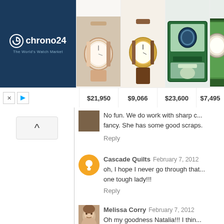[Figure (screenshot): Chrono24 advertisement banner showing luxury watches with prices: $21,950, $9,066, $23,600, $7,495]
No fun. We do work with sharp c... fancy. She has some good scraps.
Reply
Cascade Quilts  February 7, 2012
oh, I hope I never go through that... one tough lady!!!
Reply
Melissa Corry  February 7, 2012
Oh my goodness Natalia!!! I thin... your own finger!!!
And this quilting is so beautiful.... the sincerest form of flattery right...